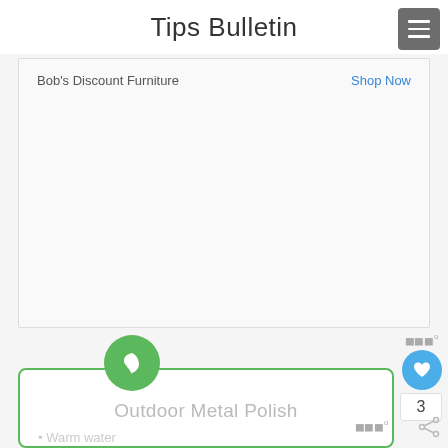Tips Bulletin
[Figure (screenshot): Advertisement box with Bob's Discount Furniture store name and Shop Now link]
Bob's Discount Furniture
Shop Now
[Figure (illustration): Green circular icon with a leaf symbol]
Outdoor Metal Polish
Warm water